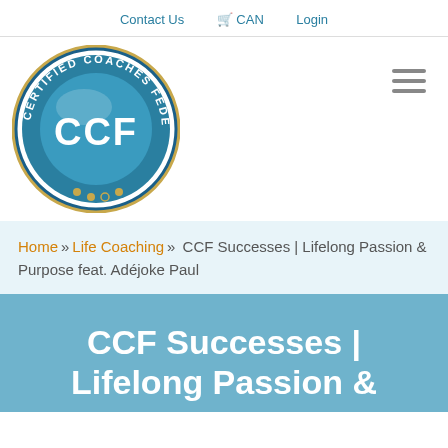Contact Us  CAN  Login
[Figure (logo): Certified Coaches Federation (CCF) circular logo with blue background and gold ring]
Home » Life Coaching » CCF Successes | Lifelong Passion & Purpose feat. Adéjoke Paul
CCF Successes | Lifelong Passion &